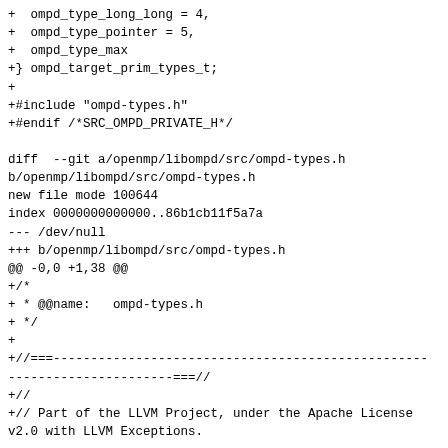+  ompd_type_long_long = 4,
+  ompd_type_pointer = 5,
+  ompd_type_max
+} ompd_target_prim_types_t;
+
+#include "ompd-types.h"
+#endif /*SRC_OMPD_PRIVATE_H*/

diff  --git a/openmp/libompd/src/ompd-types.h
b/openmp/libompd/src/ompd-types.h
new file mode 100644
index 0000000000000..86b1cb11f5a7a
--- /dev/null
+++ b/openmp/libompd/src/ompd-types.h
@@ -0,0 +1,38 @@
+/*
+ * @@name:   ompd-types.h
+ */
+
+//===----------------------------------------------------
----------------------===//
+//
+// Part of the LLVM Project, under the Apache License
v2.0 with LLVM Exceptions.
+// See https://llvm.org/LICENSE.txt for license
information.
+// SPDX-License-Identifier: Apache-2.0 WITH LLVM-
exception
+//
+//===----------------------------------------------------